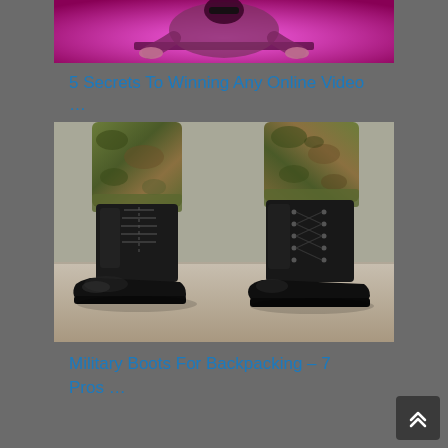[Figure (photo): Partial view of a person sitting at a computer with pink/magenta lighting in the background]
5 Secrets To Winning Any Online Video …
[Figure (photo): Close-up photograph of two military boots worn with camouflage pants, standing on a grey pavement surface]
Military Boots For Backpacking – 7 Pros …